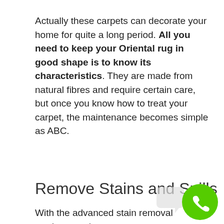Actually these carpets can decorate your home for quite a long period. All you need to keep your Oriental rug in good shape is to know its characteristics. They are made from natural fibres and require certain care, but once you know how to treat your carpet, the maintenance becomes simple as ABC.
Remove Stains and Spills
With the advanced stain removal products we have